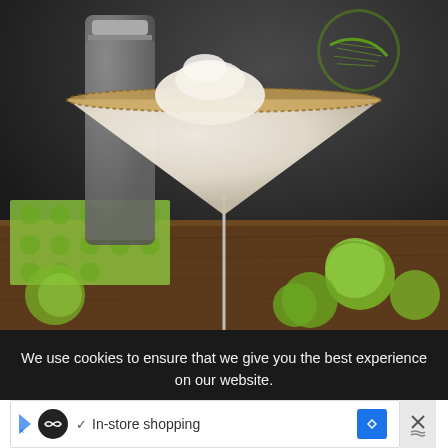[Figure (photo): A creamy white cocktail in a martini glass with a graham cracker or sugar-crusted rim and a lime wedge garnish. A cocktail shaker is visible in the background along with limes on a wooden surface and a green patterned cloth.]
We use cookies to ensure that we give you the best experience on our website.
[Figure (screenshot): An advertisement bar showing a circular black logo icon with an infinity symbol, a checkmark, the text 'In-store shopping', a blue diamond-shaped navigation icon, and an X close button on the right.]